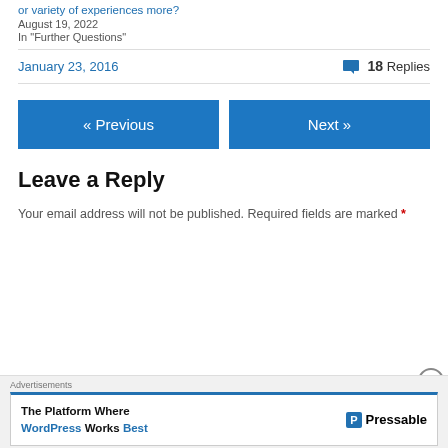or variety of experiences more?
August 19, 2022
In "Further Questions"
January 23, 2016
18 Replies
« Previous
Next »
Leave a Reply
Your email address will not be published. Required fields are marked *
Advertisements
The Platform Where WordPress Works Best
Pressable